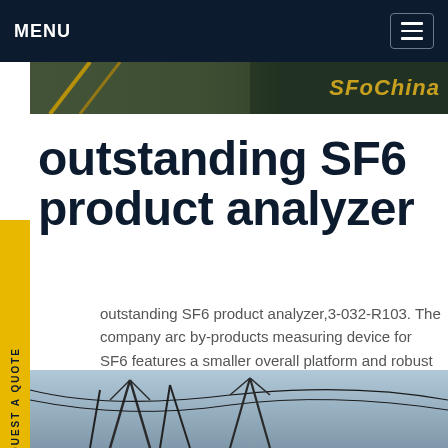MENU
[Figure (photo): Partial view of SF6 equipment with SFoChina logo text in gold on dark background]
outstanding SF6 product analyzer
outstanding SF6 product analyzer,3-032-R103. The company arc by-products measuring device for SF6 features a smaller overall platform and robust housing, while retaining a rechargeable battery. With a response time of <15 seconds, self-sealing hoses and couplings, along with connections for discharge recovery systems, the SF 6 arc by-products Analyzer is user friendly and emission free.Get price
[Figure (photo): Power line tower infrastructure photograph from below against sky]